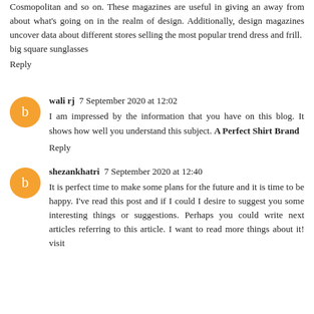Cosmopolitan and so on. These magazines are useful in giving an away from about what's going on in the realm of design. Additionally, design magazines uncover data about different stores selling the most popular trend dress and frill.
big square sunglasses
Reply
wali rj  7 September 2020 at 12:02
I am impressed by the information that you have on this blog. It shows how well you understand this subject. A Perfect Shirt Brand
Reply
shezankhatri  7 September 2020 at 12:40
It is perfect time to make some plans for the future and it is time to be happy. I've read this post and if I could I desire to suggest you some interesting things or suggestions. Perhaps you could write next articles referring to this article. I want to read more things about it! visit